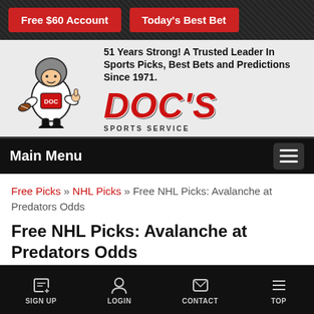[Figure (screenshot): Two red buttons: 'Free $60 Account' and 'Today's Best Bet' on a dark textured background]
[Figure (logo): Doc's Sports Service logo with cartoon mascot football player and bold red italic DOC'S text with SPORTS SERVICE subtitle]
51 Years Strong! A Trusted Leader In Sports Picks, Best Bets and Predictions Since 1971.
Main Menu
Free Picks » NHL Picks » Free NHL Picks: Avalanche at Predators Odds
Free NHL Picks: Avalanche at Predators Odds
SIGN UP   LOGIN   CONTACT   TOP